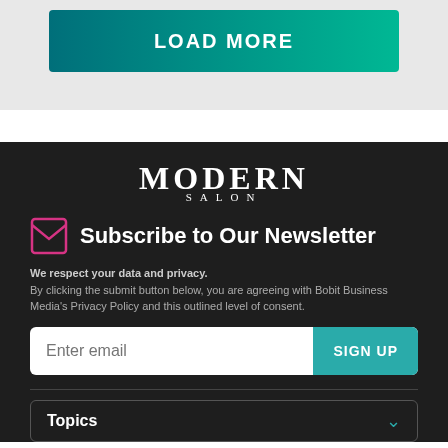[Figure (other): LOAD MORE button with teal gradient background]
[Figure (logo): MODERN SALON logo in white serif text on dark background]
Subscribe to Our Newsletter
We respect your data and privacy. By clicking the submit button below, you are agreeing with Bobit Business Media's Privacy Policy and this outlined level of consent.
[Figure (other): Email input field with SIGN UP button]
[Figure (other): Topics dropdown bar]